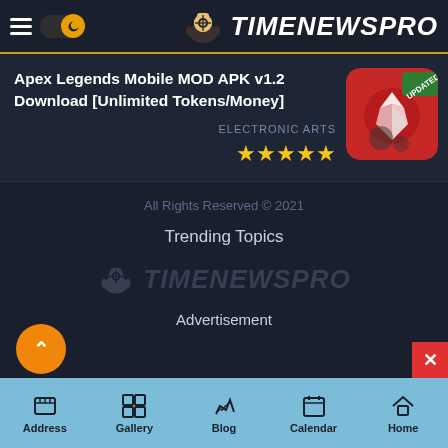TIMENEWSPRO
Apex Legends Mobile MOD APK v1.2 Download [Unlimited Tokens/Money]
ELECTRONIC ARTS
★★★★★
[Figure (screenshot): Apex Legends Mobile game icon with UPDATED badge]
All Rights Reserved © 2021
Trending Topics
[Figure (logo): TimeNewsPro watermark logo in gray]
Advertisement
Address  Gallery  Blog  Calendar  Home